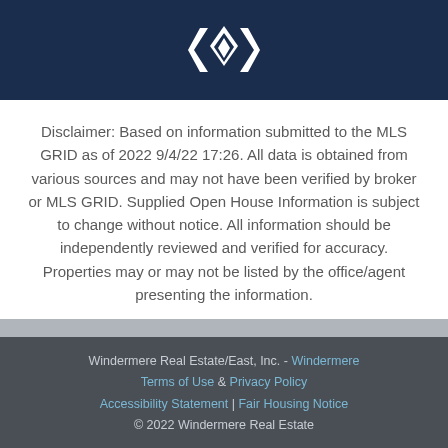[Figure (logo): Windermere Real Estate logo — white geometric diamond/chevron icon on dark navy background]
Disclaimer: Based on information submitted to the MLS GRID as of 2022 9/4/22 17:26. All data is obtained from various sources and may not have been verified by broker or MLS GRID. Supplied Open House Information is subject to change without notice. All information should be independently reviewed and verified for accuracy. Properties may or may not be listed by the office/agent presenting the information.
Windermere Real Estate/East, Inc. - Windermere Terms of Use & Privacy Policy Accessibility Statement | Fair Housing Notice © 2022 Windermere Real Estate